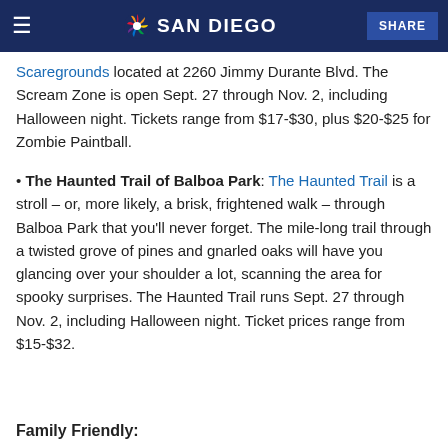NBC 7 SAN DIEGO | SHARE
Scaregrounds located at 2260 Jimmy Durante Blvd. The Scream Zone is open Sept. 27 through Nov. 2, including Halloween night. Tickets range from $17-$30, plus $20-$25 for Zombie Paintball.
The Haunted Trail of Balboa Park: The Haunted Trail is a stroll – or, more likely, a brisk, frightened walk – through Balboa Park that you'll never forget. The mile-long trail through a twisted grove of pines and gnarled oaks will have you glancing over your shoulder a lot, scanning the area for spooky surprises. The Haunted Trail runs Sept. 27 through Nov. 2, including Halloween night. Ticket prices range from $15-$32.
Family Friendly: